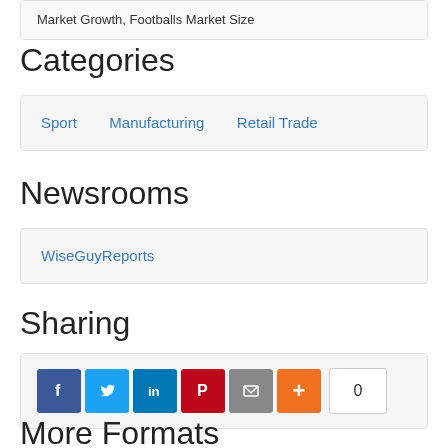Market Growth, Footballs Market Size
Categories
Sport   Manufacturing   Retail Trade
Newsrooms
WiseGuyReports
Sharing
[Figure (other): Social sharing buttons: Facebook, Twitter, LinkedIn, Pinterest, Email, More (+), and a share count showing 0]
More Formats